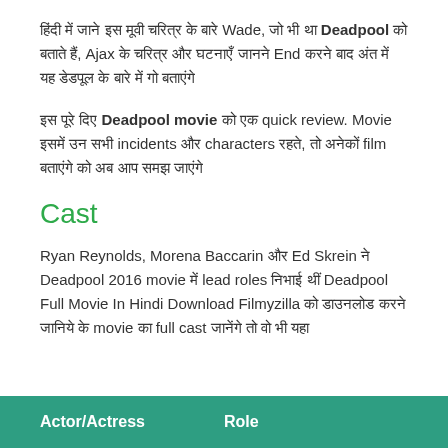हिंदी में जाने इस मूवी चरित्र के बारे Wade, जो भी था Deadpool को बताते हैं, Ajax के चरित्र और घटनाएँ जानने End करने बाद अंत में यह डेडपूल के बारे में गो बताएंगे
इस पूरे दिए Deadpool movie को एक quick review. Movie इसमें उन सभी incidents और characters रहते, तो अनेकों film बताएंगे को अब आप समझ जाएंगे
Cast
Ryan Reynolds, Morena Baccarin और Ed Skrein ने Deadpool 2016 movie में lead roles निभाई थीं Deadpool Full Movie In Hindi Download Filmyzilla को डाउनलोड करने बाद जानिये के movie का full cast जानेंगे तो वो भी यहा
| Actor/Actress | Role |
| --- | --- |